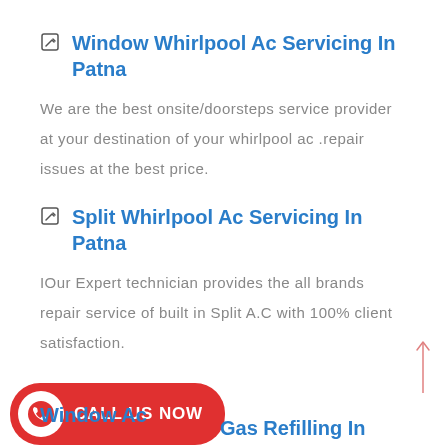Window Whirlpool Ac Servicing In Patna
We are the best onsite/doorsteps service provider at your destination of your whirlpool ac .repair issues at the best price.
Split Whirlpool Ac Servicing In Patna
IOur Expert technician provides the all brands repair service of built in Split A.C with 100% client satisfaction.
[Figure (other): Red call-to-action button with phone icon and text CALL US NOW, partially overlapping a truncated section title reading 'Window Ac Gas Refilling In']
Window Ac Gas Refilling In